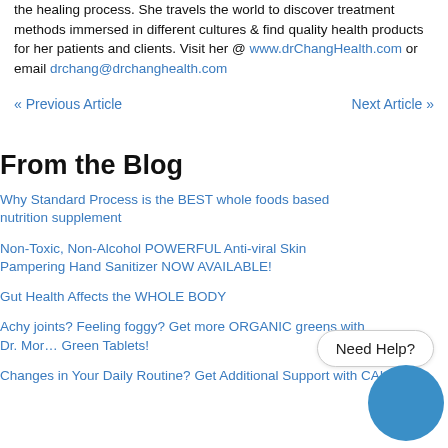the healing process. She travels the world to discover treatment methods immersed in different cultures & find quality health products for her patients and clients. Visit her @ www.drChangHealth.com or email drchang@drchanghealth.com
« Previous Article    Next Article »
From the Blog
Why Standard Process is the BEST whole foods based nutrition supplement
Non-Toxic, Non-Alcohol POWERFUL Anti-viral Skin Pampering Hand Sanitizer NOW AVAILABLE!
Gut Health Affects the WHOLE BODY
Achy joints? Feeling foggy? Get more ORGANIC greens with Dr. Mor… Green Tablets!
Changes in Your Daily Routine? Get Additional Support with CALMAC